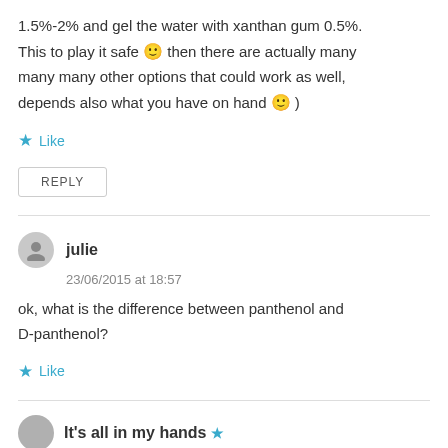1.5%-2% and gel the water with xanthan gum 0.5%. This to play it safe 🙂 then there are actually many many many other options that could work as well, depends also what you have on hand 🙂 )
★ Like
REPLY
julie
23/06/2015 at 18:57
ok, what is the difference between panthenol and D-panthenol?
★ Like
It's all in my hands ★